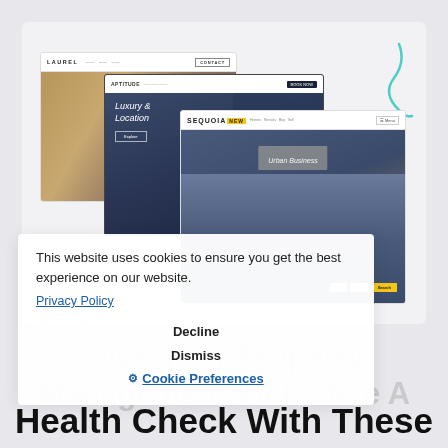[Figure (screenshot): Three overlapping browser window screenshots showing property management website themes: Laurel (luxury real estate with golden staircase image), Aptitude (dark themed with 'Luxury & Location' heading and building photo), and Sequoia (light themed with yellow brand accent and apartment building image). A teal decorative squiggle appears in the top right.]
This website uses cookies to ensure you get the best experience on our website.
Privacy Policy
Decline
Dismiss
Cookie Preferences
Give Your Property Management Website A Health Check With These